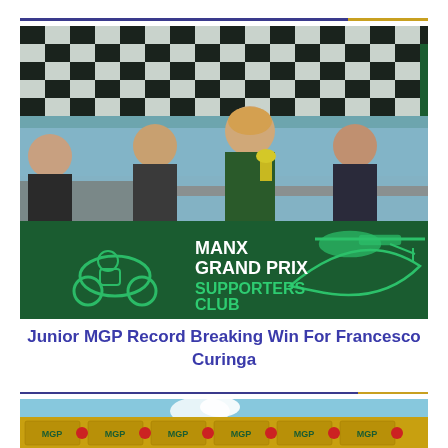[Figure (photo): Podium celebration photo showing four people standing behind a green Manx Grand Prix Supporters Club banner with a checkered flag backdrop. The central figure holds a trophy. The banner shows the MANX GRAND PRIX SUPPORTERS CLUB logo with a motorcycle and helicopter graphic.]
Junior MGP Record Breaking Win For Francesco Curinga
[Figure (photo): Partial photo showing the bottom of the frame with yellow/gold MGP banners and what appears to be a champagne spray celebration.]